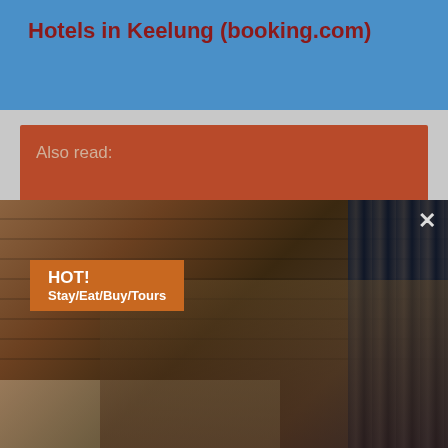Hotels in Keelung (booking.com)
Also read:
[Figure (photo): Hotel lobby photo showing two people seated on a couch, with HOT! Stay/Eat/Buy/Tours badge and overlay text 'Check out Special Offers! Find interesting special offers by hotels, restaurants, shops, leisure farm, tour organizers, and more!']
Documentary Project about the Keelung
Chat with Taiwan Everything
Ask a question about Taiwan! (Pls tell us which...
30 Shares